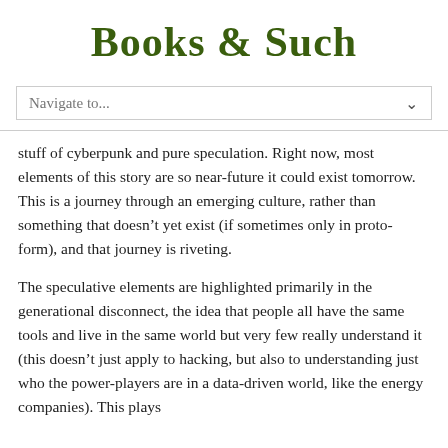Books & Such
Navigate to...
stuff of cyberpunk and pure speculation. Right now, most elements of this story are so near-future it could exist tomorrow. This is a journey through an emerging culture, rather than something that doesn’t yet exist (if sometimes only in proto-form), and that journey is riveting.
The speculative elements are highlighted primarily in the generational disconnect, the idea that people all have the same tools and live in the same world but very few really understand it (this doesn’t just apply to hacking, but also to understanding just who the power-players are in a data-driven world, like the energy companies). This plays